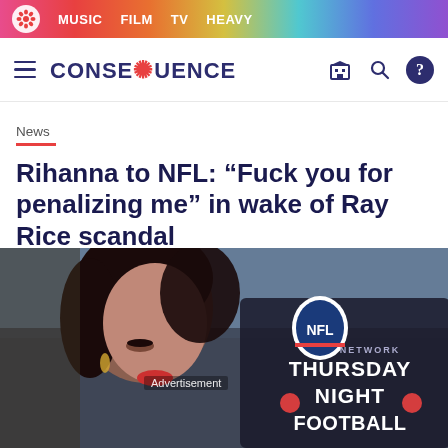MUSIC  FILM  TV  HEAVY
CONSEQUENCE
News
Rihanna to NFL: “Fuck you for penalizing me” in wake of Ray Rice scandal
[Figure (photo): Photo of a woman in front of NFL Network Thursday Night Football signage, with Advertisement text overlay]